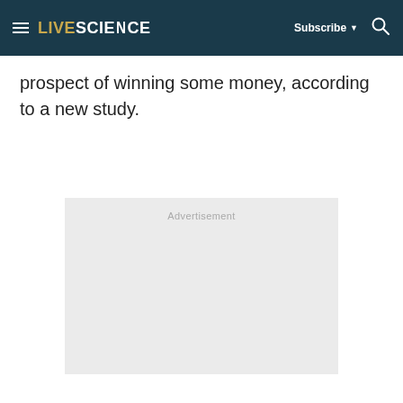LIVESCIENCE — Subscribe ▾ 🔍
prospect of winning some money, according to a new study.
[Figure (other): Advertisement placeholder box with 'Advertisement' label text]